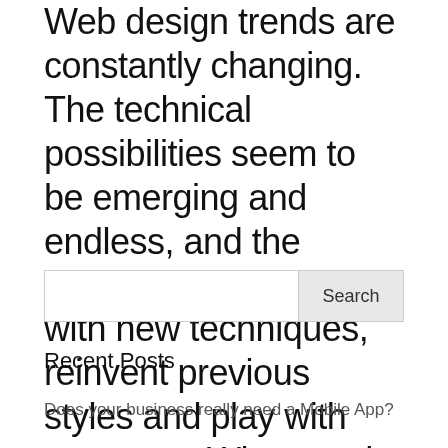Web design trends are constantly changing. The technical possibilities seem to be emerging and endless, and the designers experiment with new techniques, reinvent previous styles and play with extremes. When push notification and never-ending open tabs keep on...
Search
Recent Posts
Does your business really need a Mobile App?